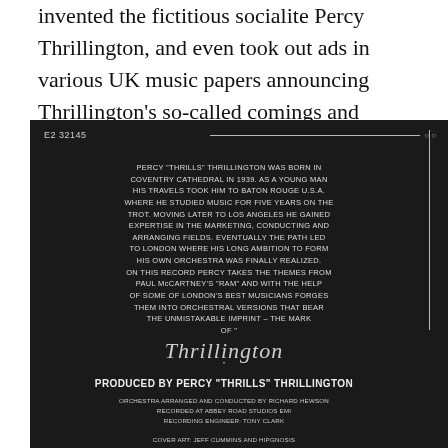invented the fictitious socialite Percy Thrillington, and even took out ads in various UK music papers announcing Thrillington's so-called comings and goings to generate curiosity and interest.
[Figure (photo): Black album back cover for Thrillington. Shows catalog number E2 32145 top left, a horizontal line top right with two small circles. A vertical line on the right side. Center text in white caps describes Percy 'Thrills' Thrillington's biography and the record's contents, ending with a cursive signature 'Thrillington'. Below: PRODUCED BY PERCY 'THRILLS' THRILLINGTON in bold white. Credits include orchestra arranged by Richard Hewson, recorded at Abbey Road Studios EMI, recording engineer Tony Clark, cover art Jeff Cummins and Hipgnosis.]